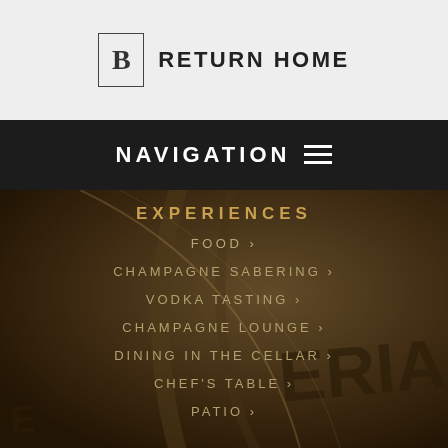B RETURN HOME
NAVIGATION ≡
[Figure (photo): Dark, moody close-up background photo of a champagne or wine bottle label with gold tones, partially visible text 'ERIA']
EXPERIENCES
FOOD ›
CHAMPAGNE SABERING ›
VODKA TASTING ›
CHAMPAGNE LOUNGE ›
DINING IN THE CELLAR ›
CHEF'S TABLE ›
PATIO ›